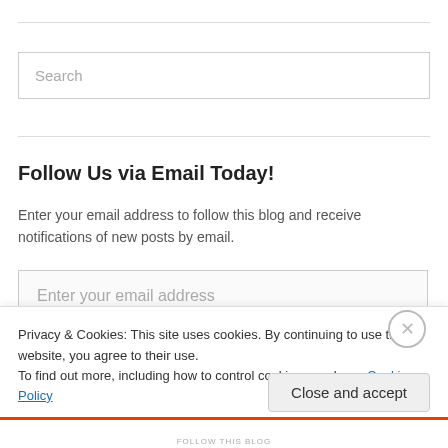[Figure (screenshot): Search input box with placeholder text 'Search']
Follow Us via Email Today!
Enter your email address to follow this blog and receive notifications of new posts by email.
[Figure (screenshot): Email input field with placeholder 'Enter your email address' and a follow button below]
Privacy & Cookies: This site uses cookies. By continuing to use this website, you agree to their use.
To find out more, including how to control cookies, see here: Cookie Policy
Close and accept